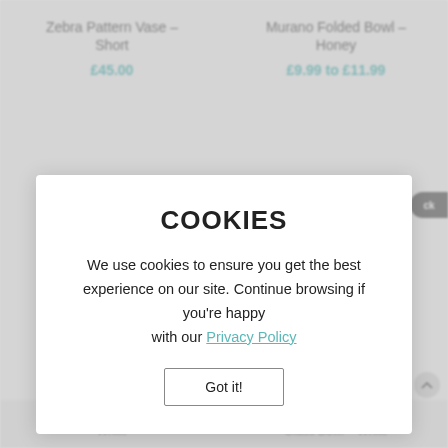Zebra Pattern Vase – Short
£45.00
Murano Folded Bowl – Honey
£9.99 to £11.99
COOKIES
We use cookies to ensure you get the best experience on our site. Continue browsing if you're happy with our Privacy Policy
Got it!
Murano Folded Bowl – White
Murano Shell S... Glass Bowl – White